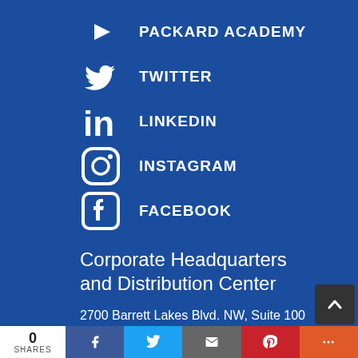PACKARD ACADEMY
TWITTER
LINKEDIN
INSTAGRAM
FACEBOOK
Corporate Headquarters and Distribution Center
2700 Barrett Lakes Blvd. NW, Suite 100
Kennesaw, GA 30144
Distribution Centers
3810 Plainfield Rd., Suite 150
Plainfield, IN 46231
0 SHARES | Facebook | Twitter | Email | Pinterest | More